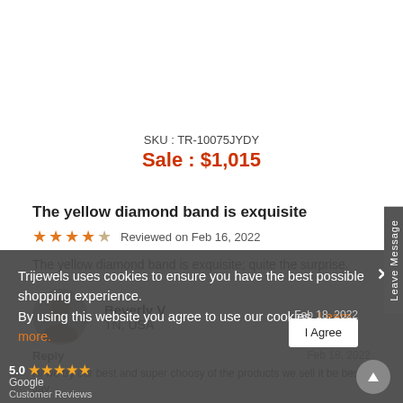SKU : TR-10075JYDY
Sale : $1,015
The yellow diamond band is exquisite
★★★★☆ Reviewed on Feb 16, 2022
The yellow diamond band is exquisite; quite the surprise.
Beverly V
TN, USA
Reply
Feb 18, 2022
Hi we try our best and super choosy of the products we sell it be best Jay
Trijewels uses cookies to ensure you have the best possible shopping experience. By using this website you agree to use our cookies. Learn more.
5.0 ★★★★★
Google
Customer Reviews